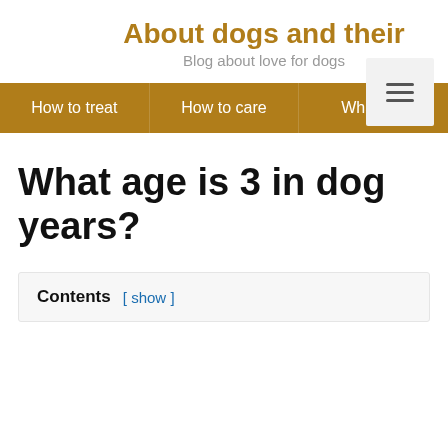About dogs and their
Blog about love for dogs
How to treat | How to care | What are
What age is 3 in dog years?
Contents [ show ]